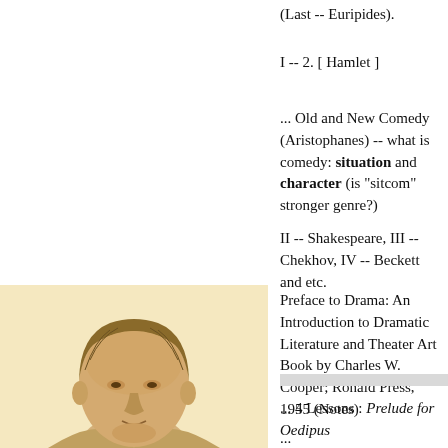(Last -- Euripides).
I -- 2. [ Hamlet ]
... Old and New Comedy (Aristophanes) -- what is comedy: situation and character (is "sitcom" stronger genre?)
II -- Shakespeare, III -- Chekhov, IV -- Beckett and etc.
Preface to Drama: An Introduction to Dramatic Literature and Theater Art Book by Charles W. Cooper; Ronald Press, 1955 (Notes)
... 4 Lessons : Prelude for Oedipus
...
[Figure (photo): Bust portrait illustration of a classical figure (Aristotle), engraving style on cream/sepia background, showing head and upper shoulders.]